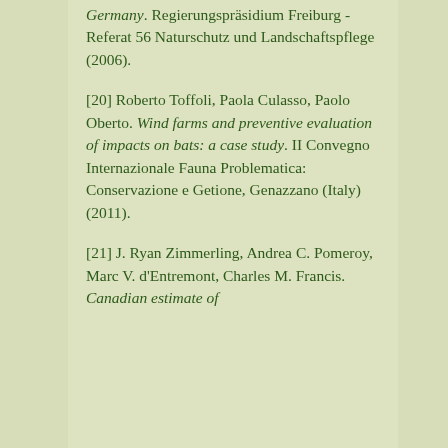Germany. Regierungspräsidium Freiburg - Referat 56 Naturschutz und Landschaftspflege (2006).
[20] Roberto Toffoli, Paola Culasso, Paolo Oberto. Wind farms and preventive evaluation of impacts on bats: a case study. II Convegno Internazionale Fauna Problematica: Conservazione e Getione, Genazzano (Italy) (2011).
[21] J. Ryan Zimmerling, Andrea C. Pomeroy, Marc V. d'Entremont, Charles M. Francis. Canadian estimate of